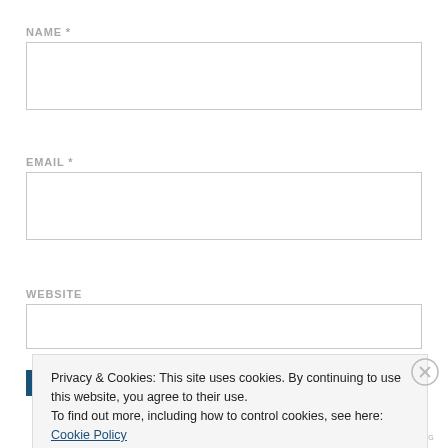NAME *
[Figure (other): Empty text input field for NAME]
EMAIL *
[Figure (other): Empty text input field for EMAIL]
WEBSITE
[Figure (other): Empty text input field for WEBSITE, partially visible behind cookie banner]
Privacy & Cookies: This site uses cookies. By continuing to use this website, you agree to their use.
To find out more, including how to control cookies, see here:
Cookie Policy
Close and accept
AIRPORT-TIME.AG